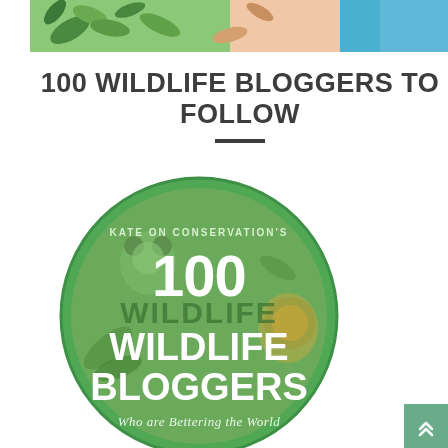[Figure (illustration): Decorative top banner with illustrated leaves, flowers in green, teal, and peach colors]
100 WILDLIFE BLOGGERS TO FOLLOW
[Figure (illustration): Circular green badge illustration reading '100 Wildlife Bloggers Who are Bettering the World' with drawn animals including koala and lion, labeled 'Kate on Conservation's']